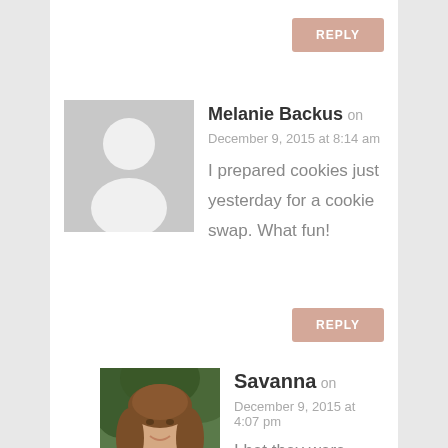REPLY
[Figure (photo): Gray placeholder avatar icon with silhouette of a person]
Melanie Backus on
December 9, 2015 at 8:14 am
I prepared cookies just yesterday for a cookie swap. What fun!
REPLY
[Figure (photo): Photo of a young woman with long brown hair, smiling, wearing a teal shirt, outdoors with green background]
Savanna on
December 9, 2015 at 4:07 pm
I bet they were